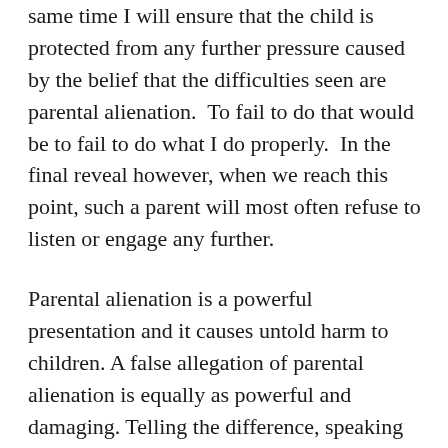same time I will ensure that the child is protected from any further pressure caused by the belief that the difficulties seen are parental alienation.  To fail to do that would be to fail to do what I do properly.  In the final reveal however, when we reach this point, such a parent will most often refuse to listen or engage any further.
Parental alienation is a powerful presentation and it causes untold harm to children. A false allegation of parental alienation is equally as powerful and damaging. Telling the difference, speaking the difference and protecting the child, is one of the most powerful things that a practitioner can do.
We must act and speak for the children who cannot do so themselves...